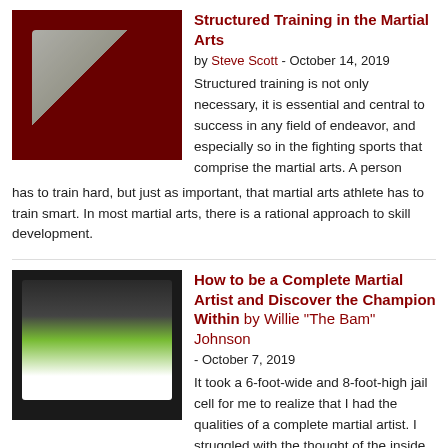[Figure (photo): Two martial artists in white gi performing a judo/grappling technique on a red mat]
Structured Training in the Martial Arts
by Steve Scott - October 14, 2019
Structured training is not only necessary, it is essential and central to success in any field of endeavor, and especially so in the fighting sports that comprise the martial arts. A person has to train hard, but just as important, that martial arts athlete has to train smart. In most martial arts, there is a rational approach to skill development.
[Figure (photo): Martial artist performing wushu/kung fu with colorful weapon on a stage]
How to be a Complete Martial Artist and Discover the Champion Within
by Willie "The Bam" Johnson - October 7, 2019
It took a 6-foot-wide and 8-foot-high jail cell for me to realize that I had the qualities of a complete martial artist. I struggled with the thought of the inside being like a tunnel and losing my breath from being claustrophobic.
[Figure (photo): Dark photo related to bullying article]
Encountering a Bully
by Willie "The Bam"